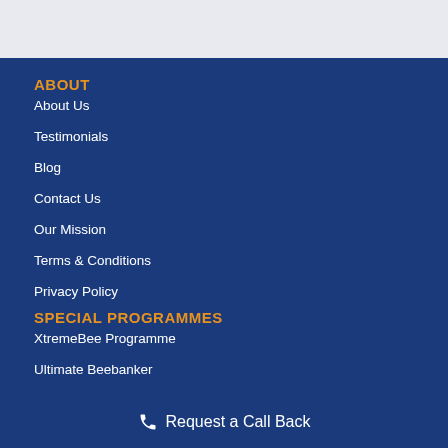ABOUT
About Us
Testimonials
Blog
Contact Us
Our Mission
Terms & Conditions
Privacy Policy
SPECIAL PROGRAMMES
XtremeBee Programme
Ultimate Beebanker
Request a Call Back